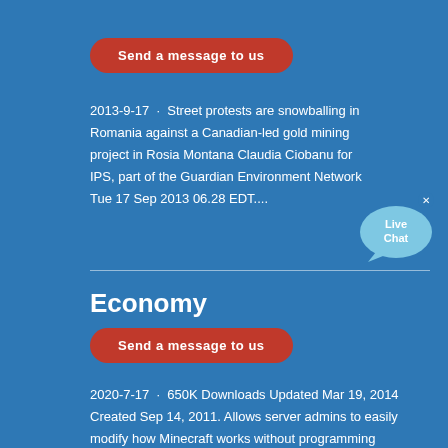Send a message to us
2013-9-17 · Street protests are snowballing in Romania against a Canadian-led gold mining project in Rosia Montana Claudia Ciobanu for IPS, part of the Guardian Environment Network Tue 17 Sep 2013 06.28 EDT....
[Figure (illustration): Live Chat speech bubble icon in light blue with 'Live Chat' text and an X close button]
Economy
Send a message to us
2020-7-17 · 650K Downloads Updated Mar 19, 2014 Created Sep 14, 2011. Allows server admins to easily modify how Minecraft works without programming anything Download. Anti X-Ray By blablubb. Anti X-Ray by